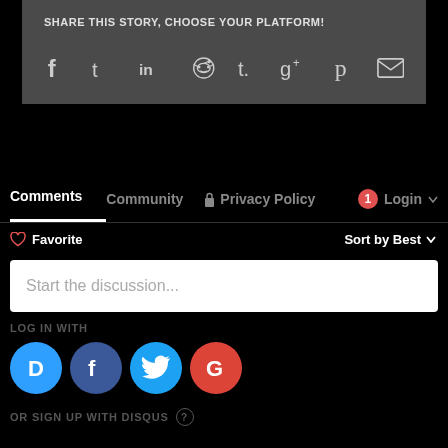SHARE THIS STORY, CHOOSE YOUR PLATFORM!
[Figure (infographic): Social media sharing icons: Facebook, Twitter, LinkedIn, Reddit, Tumblr, Google+, Pinterest, Email]
Comments   Community   Privacy Policy   1   Login
♡ Favorite   Sort by Best
Start the discussion...
LOG IN WITH
[Figure (infographic): Social login buttons: Disqus (blue circle with D), Facebook (dark blue circle with f), Twitter (light blue circle with bird), Google (red circle with G)]
OR SIGN UP WITH DISQUS ?